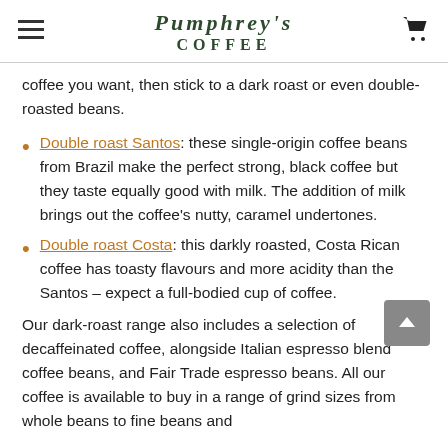PUMPHREY'S COFFEE
coffee you want, then stick to a dark roast or even double-roasted beans.
Double roast Santos: these single-origin coffee beans from Brazil make the perfect strong, black coffee but they taste equally good with milk. The addition of milk brings out the coffee's nutty, caramel undertones.
Double roast Costa: this darkly roasted, Costa Rican coffee has toasty flavours and more acidity than the Santos – expect a full-bodied cup of coffee.
Our dark-roast range also includes a selection of decaffeinated coffee, alongside Italian espresso blend coffee beans, and Fair Trade espresso beans. All our coffee is available to buy in a range of grind sizes from whole beans to fine beans and...